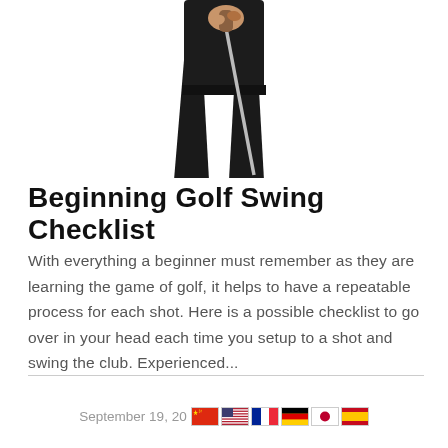[Figure (photo): Golfer standing holding a golf club, showing torso and legs in black pants, white background crop]
Beginning Golf Swing Checklist
With everything a beginner must remember as they are learning the game of golf, it helps to have a repeatable process for each shot. Here is a possible checklist to go over in your head each time you setup to a shot and swing the club. Experienced...
September 19, 20 [flags: China, USA, France, Germany, Japan, Spain]